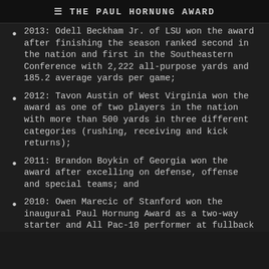≡ THE PAUL HORNUNG AWARD
2013: Odell Beckham Jr. of LSU won the award after finishing the season ranked second in the nation and first in the Southeastern Conference with 2,222 all-purpose yards and 185.2 average yards per game;
2012: Tavon Austin of West Virginia won the award as one of two players in the nation with more than 500 yards in three different categories (rushing, receiving and kick returns);
2011: Brandon Boykin of Georgia won the award after excelling on defense, offense and special teams; and
2010: Owen Marecic of Stanford won the inaugural Paul Hornung Award as a two-way starter and All Pac-10 performer at fullback